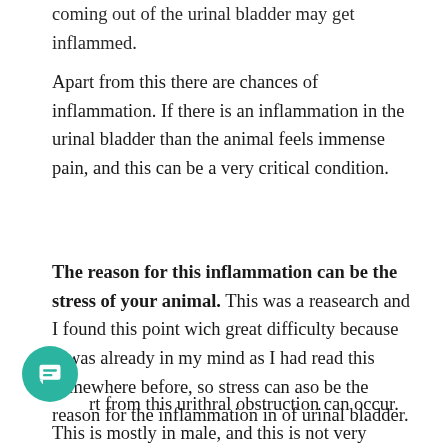coming out of the urinal bladder may get inflammed.
Apart from this there are chances of inflammation. If there is an inflammation in the urinal bladder than the animal feels immense pain, and this can be a very critical condition.
The reason for this inflammation can be the stress of your animal. This was a reasearch and I found this point wich great difficulty because it was already in my mind as I had read this somewhere before, so stress can aso be the reason for the inflammation in of urinal bladder.
Apart from this urithral obstruction can occur. This is mostly in male, and this is not very common in